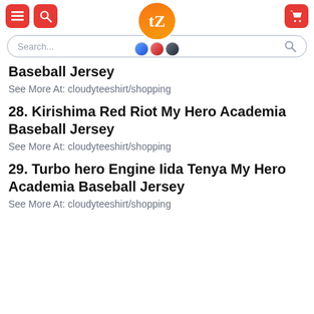teetonics.com header with search bar
Baseball Jersey
See More At: cloudyteeshirt/shopping
28. Kirishima Red Riot My Hero Academia Baseball Jersey
See More At: cloudyteeshirt/shopping
29. Turbo hero Engine Iida Tenya My Hero Academia Baseball Jersey
See More At: cloudyteeshirt/shopping